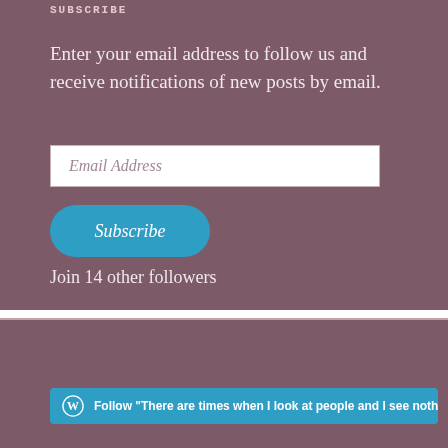Subscribe
Enter your email address to follow us and receive notifications of new posts by email.
Email Address
Subscribe
Join 14 other followers
Follow "There are times when I look at people and I see nothing